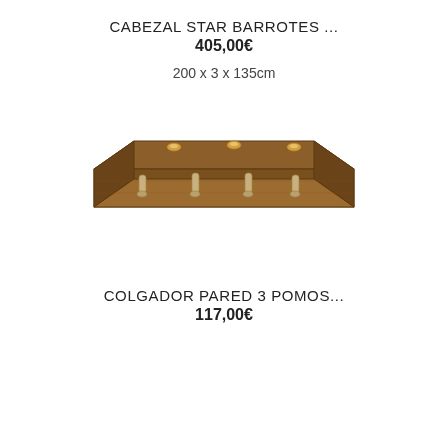CABEZAL STAR BARROTES ...
405,00€
200 x 3 x 135cm
[Figure (photo): Wooden wall-mounted coat rack with four metal hooks and three light spots on top shelf, viewed in perspective, warm brown finish]
COLGADOR PARED 3 POMOS...
117,00€